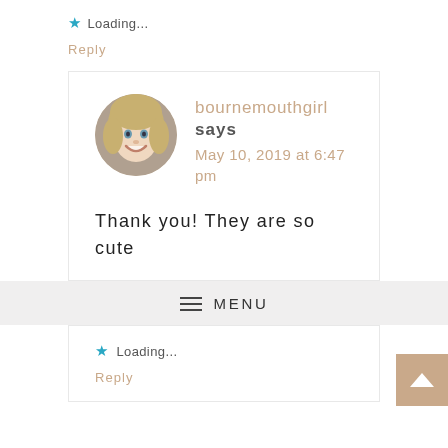★ Loading...
Reply
bournemouthgirl says May 10, 2019 at 6:47 pm
Thank you! They are so cute
≡ MENU
★ Loading...
Reply